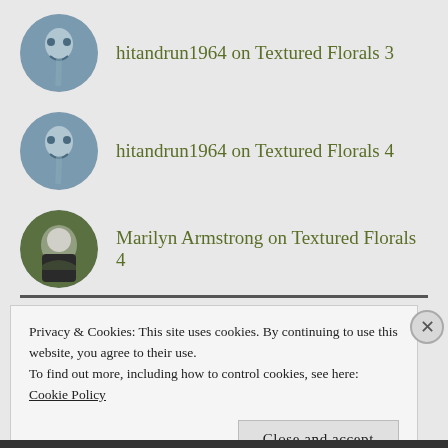hitandrun1964 on Textured Florals 3
hitandrun1964 on Textured Florals 4
Marilyn Armstrong on Textured Florals 4
sustainabilitea on Textured Florals 4
Privacy & Cookies: This site uses cookies. By continuing to use this website, you agree to their use.
To find out more, including how to control cookies, see here: Cookie Policy
Close and accept